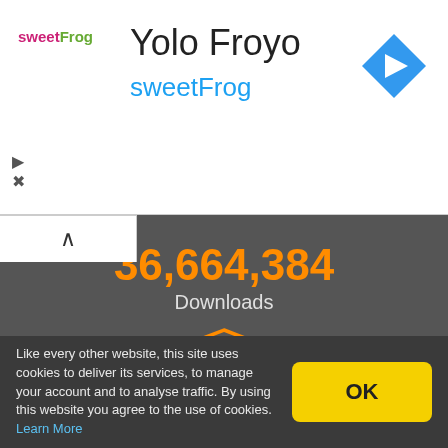[Figure (screenshot): SweetFrog ad banner with logo, title 'Yolo Froyo', subtitle 'sweetFrog', navigation arrow icon, play and close buttons]
Yolo Froyo
sweetFrog
36,664,384 Downloads
[Figure (illustration): Orange shield with checkmark icon indicating Secure & Tested Software]
Secure & Tested Software
6,388
Like every other website, this site uses cookies to deliver its services, to manage your account and to analyse traffic. By using this website you agree to the use of cookies. Learn More